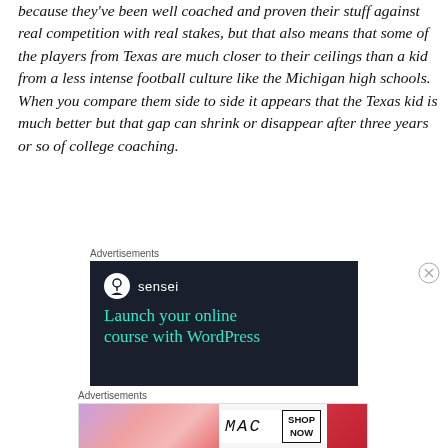because they've been well coached and proven their stuff against real competition with real stakes, but that also means that some of the players from Texas are much closer to their ceilings than a kid from a less intense football culture like the Michigan high schools. When you compare them side to side it appears that the Texas kid is much better but that gap can shrink or disappear after three years or so of college coaching.
[Figure (other): Advertisement banner for Sensei plugin showing dark background with Sensei logo and text 'Launch your online course with WordPress']
[Figure (other): Advertisement banner for MAC cosmetics showing lipstick products with SHOP NOW button]